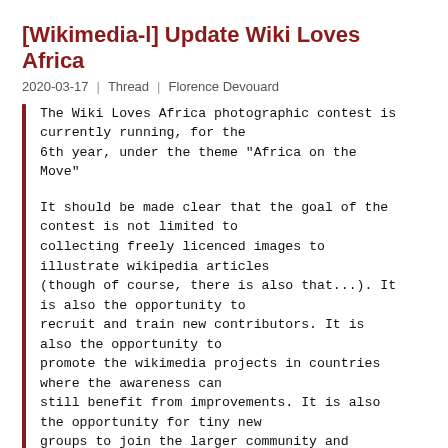[Wikimedia-l] Update Wiki Loves Africa
2020-03-17  |  Thread  |  Florence Devouard
The Wiki Loves Africa photographic contest is currently running, for the 6th year, under the theme "Africa on the Move"

It should be made clear that the goal of the contest is not limited to collecting freely licenced images to illustrate wikipedia articles (though of course, there is also that...). It is also the opportunity to recruit and train new contributors. It is also the opportunity to promote the wikimedia projects in countries where the awareness can still benefit from improvements. It is also the opportunity for tiny new groups to join the larger community and increase their knowledge of our mouvement.